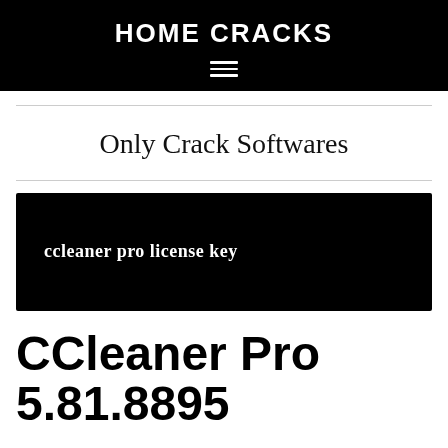HOME CRACKS
Only Crack Softwares
[Figure (illustration): Black banner image with text 'ccleaner pro license key' in white bold serif font]
CCleaner Pro 5.81.8895